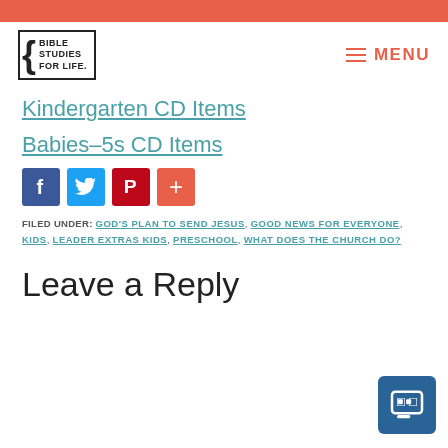Bible Studies For Life — MENU header bar
Kindergarten CD Items
Babies–5s CD Items
[Figure (other): Social sharing buttons: Facebook, Twitter, Pinterest, Plus]
FILED UNDER: GOD'S PLAN TO SEND JESUS, GOOD NEWS FOR EVERYONE, KIDS, LEADER EXTRAS KIDS, PRESCHOOL, WHAT DOES THE CHURCH DO?
Leave a Reply